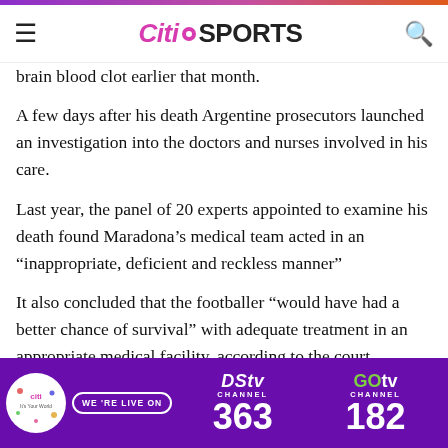Citi SPORTS
brain blood clot earlier that month.
A few days after his death Argentine prosecutors launched an investigation into the doctors and nurses involved in his care.
Last year, the panel of 20 experts appointed to examine his death found Maradona’s medical team acted in an “inappropriate, deficient and reckless manner”
It also concluded that the footballer “would have had a better chance of survival” with adequate treatment in an appropriate medical facility, according to the court
[Figure (infographic): DStv Channel 363 and GOtv Channel 182 advertisement banner with Citi logo on purple background]